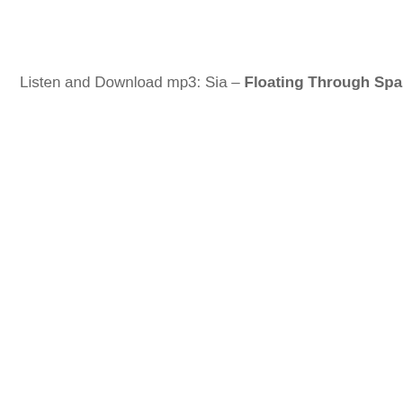Listen and Download mp3: Sia – Floating Through Space